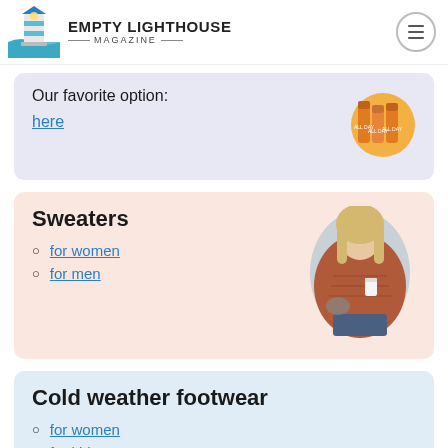EMPTY LIGHTHOUSE MAGAZINE
Our favorite option:
here
Sweaters
for women
for men
Cold weather footwear
for women
for kids